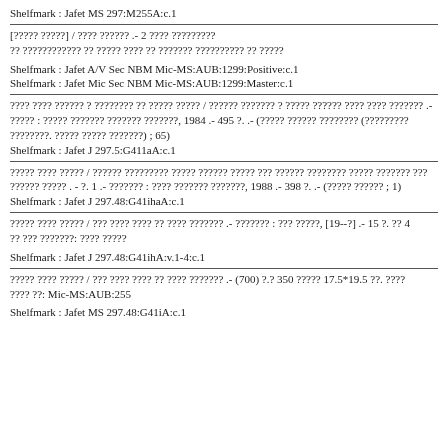Shelfmark : Jafet MS 297:M255A:c.1
[????? ?????] / ???? ?????? .- 2 ???? ?????????
?? ???????????? ?? ????? ???? ?? ??????? ?????????? ?? ?????
Shelfmark : Jafet A/V Sec NBM Mic-MS:AUB:1299:Positive:c.1
Shelfmark : Jafet Mic Sec NBM Mic-MS:AUB:1299:Master:c.1
???? ???? ?????? ? ???????? ?? ????? ????? / ?????? ??????? ? ????? ?????? ???? ???? ??????? .- ????? : ????? ??????? ??????? ???????, 1984 .- 495 ?. .- (????? ?????? ???????? (????????? ????????. ????? ????? ???????) ; 65)
Shelfmark : Jafet J 297.5:G411aA:c.1
????? ???? ????? / ?????? ????????? ????? ?????? ????? ??? ?????? ???????? ????? ??????? ??? ?????? ????? . - ?. 1 .- ??????? : ???? ??????? ???????, 1988 .- 398 ?. .- (????? ?????? ; 1)
Shelfmark : Jafet J 297.48:G41ihaA:c.1
????? ???? ????? / ??? ???? ???? ?? ???? ??????? .- ??????? : ??? ?????, [19--?] .- 15 ?. ?? 4
?? ??? ???????: ???? ?????
Shelfmark : Jafet J 297.48:G41ihA:v.1-4:c.1
????? ???? ????? / ??? ???? ???? ?? ???? ??????? .- (700) ?.? 350 ????? 17.5*19.5 ??. ????
???? ??: Mic-MS:AUB:255
Shelfmark : Jafet MS 297.48:G41iA:c.1